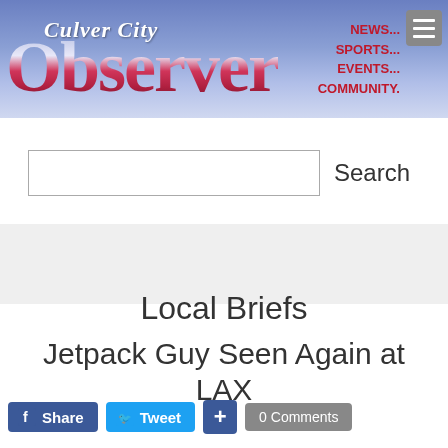[Figure (logo): Culver City Observer newspaper logo with blue gradient banner background, red gradient OBSERVER text, and navigation links NEWS... SPORTS... EVENTS... COMMUNITY.]
Search
Local Briefs
Jetpack Guy Seen Again at LAX
Share  Tweet  +  0 Comments